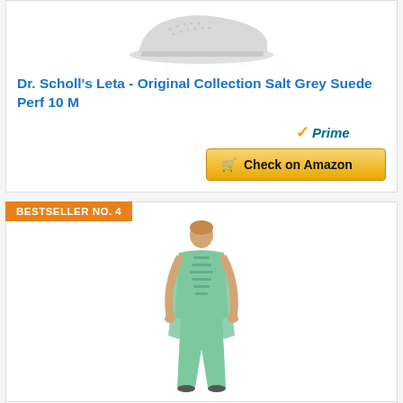[Figure (photo): White/grey athletic shoe product photo]
Dr. Scholl's Leta - Original Collection Salt Grey Suede Perf 10 M
[Figure (logo): Amazon Prime badge with orange checkmark]
Check on Amazon
BESTSELLER NO. 4
[Figure (photo): Woman wearing mint green elegant outfit with embellishments]
TOPG Women's Elegant Mother Of The